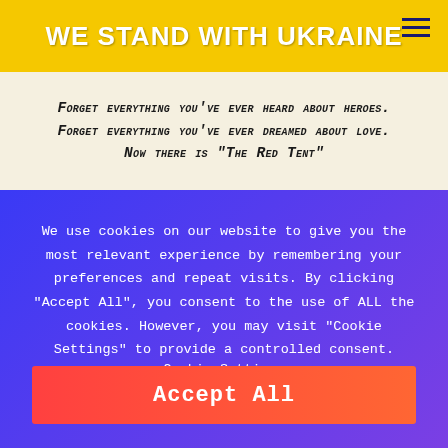WE STAND WITH UKRAINE
Forget everything you've ever heard about heroes. Forget everything you've ever dreamed about love. Now there is "The Red Tent"
We use cookies on our website to give you the most relevant experience by remembering your preferences and repeat visits. By clicking "Accept All", you consent to the use of ALL the cookies. However, you may visit "Cookie Settings" to provide a controlled consent.
Cookie Settings
Accept All